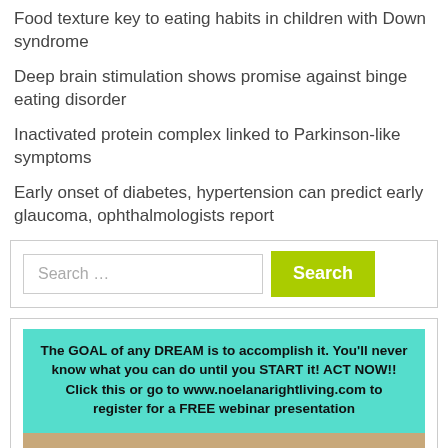Food texture key to eating habits in children with Down syndrome
Deep brain stimulation shows promise against binge eating disorder
Inactivated protein complex linked to Parkinson-like symptoms
Early onset of diabetes, hypertension can predict early glaucoma, ophthalmologists report
Search ...
[Figure (infographic): Teal/cyan advertisement box with bold black text: The GOAL of any DREAM is to accomplish it. You'll never know what you can do until you START it! ACT NOW!! Click this or go to www.noelanarightliving.com to register for a FREE webinar presentation. Below is a partial photo of a wooden surface.]